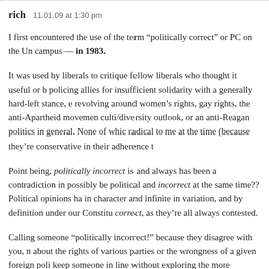rich  11.01.09 at 1:30 pm
I first encountered the use of the term “politically correct” or PC on the University campus — in 1983.
It was used by liberals to critique fellow liberals who thought it useful or b[eneficial], policing allies for insufficient solidarity with a generally hard-left stance, e[specially] revolving around women’s rights, gay rights, the anti-Apartheid movement, multi/diversity outlook, or an anti-Reagan politics in general. None of which seemed radical to me at the time (because they’re conservative in their adherence t[o tradition]).
Point being, politically incorrect is and always has been a contradiction in [terms]. How can something possibly be political and incorrect at the same time?? Political opinions ha[ve always been plural] in character and infinite in variation, and by definition under our Constitu[tion] none are correct, as they’re all always contested.
Calling someone “politically incorrect!” because they disagree with you, m[akes assertions] about the rights of various parties or the wrongness of a given foreign poli[cy, is a way to] keep someone in line without exploring the more interesting aspects of an [argument at a deeper] and difficult level. It’s a rhetorical trump card. But no opinion is more [or less]...